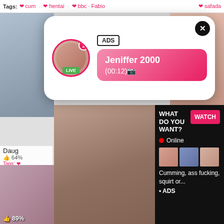Tags: cum  safada
[Figure (screenshot): Adult content notification popup with avatar, LIVE badge, ADS label, username Jeniffer 2000, timestamp (00:12), pink gradient bubble, close button]
[Figure (screenshot): Adult content overlay popup with WHAT DO YOU WANT? text, WATCH button, Online indicator, thumbnail row, text: Cumming, ass fucking, squirt or... ADS]
Daug
64%
Tags:
ey
onde
[Figure (screenshot): Adult video thumbnail bottom left, duration 5:00, like 89%]
[Figure (screenshot): Adult video thumbnail bottom right, duration 6:25, like 80%]